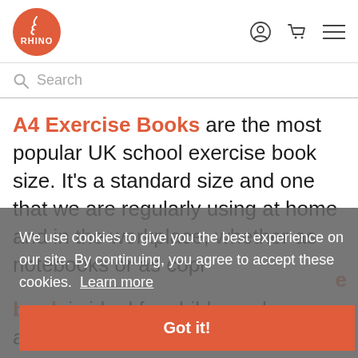[Figure (logo): Rhino brand logo – orange circle with white RHINO text and rhino horn icon]
Search
A4 Exercise Books are the most popular UK school exercise book size. It's a standard size and one that we are regularly using at home and in the workplace, whether as notebooks or as copier...
We use cookies to give you the best experience on our site. By continuing, you agree to accept these cookies. Learn more
Got it!
book is ideal for children who are able to focus for